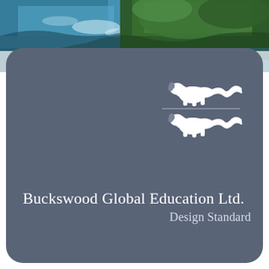[Figure (photo): Aerial photograph of blue ocean water and green forested coastline, partially visible at top of page]
[Figure (logo): Buckswood Global Education Ltd. heraldic lion crest logo in white, showing two lions passant on a slate grey rounded rectangle background]
Buckswood Global Education Ltd.
Design Standard